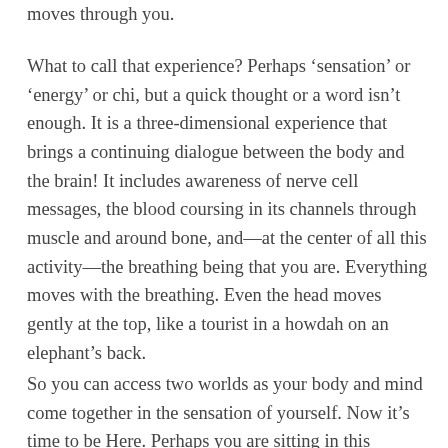moves through you.
What to call that experience? Perhaps ‘sensation’ or ‘energy’ or chi, but a quick thought or a word isn’t enough. It is a three-dimensional experience that brings a continuing dialogue between the body and the brain! It includes awareness of nerve cell messages, the blood coursing in its channels through muscle and around bone, and—at the center of all this activity—the breathing being that you are. Everything moves with the breathing. Even the head moves gently at the top, like a tourist in a howdah on an elephant’s back.
So you can access two worlds as your body and mind come together in the sensation of yourself. Now it’s time to be Here. Perhaps you are sitting in this